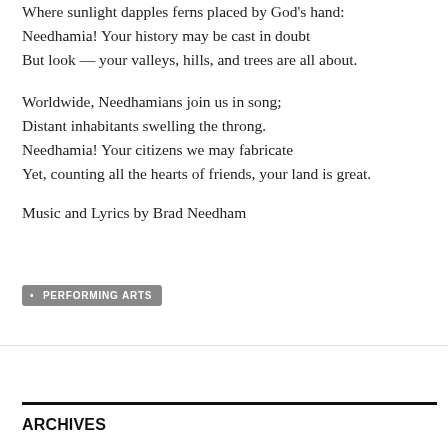Where sunlight dapples ferns placed by God's hand:
Needhamia! Your history may be cast in doubt
But look — your valleys, hills, and trees are all about.
Worldwide, Needhamians join us in song;
Distant inhabitants swelling the throng.
Needhamia! Your citizens we may fabricate
Yet, counting all the hearts of friends, your land is great.
Music and Lyrics by Brad Needham
• PERFORMING ARTS
ARCHIVES